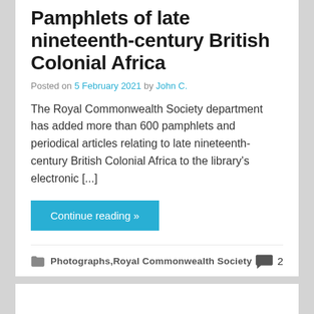Pamphlets of late nineteenth-century British Colonial Africa
Posted on 5 February 2021 by John C.
The Royal Commonwealth Society department has added more than 600 pamphlets and periodical articles relating to late nineteenth-century British Colonial Africa to the library's electronic [...]
Continue reading »
Photographs, Royal Commonwealth Society   2